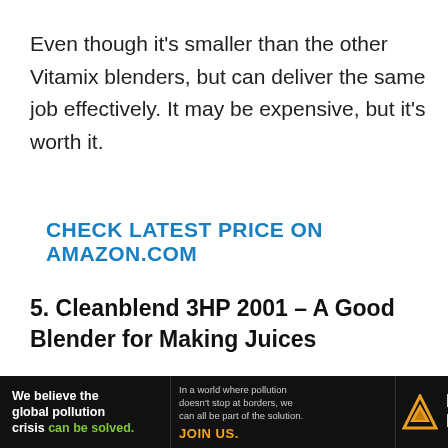Even though it's smaller than the other Vitamix blenders, but can deliver the same job effectively. It may be expensive, but it's worth it.
CHECK LATEST PRICE ON AMAZON.COM
5. Cleanblend 3HP 2001 – A Good Blender for Making Juices
The Cleanblend is a very powerful blender that
[Figure (infographic): Pure Earth advertisement banner: black background. Left section reads 'We believe the global pollution crisis can be solved.' in white and green text. Middle section reads 'In a world where pollution doesn't stop at borders, we can all be part of the solution. JOIN US.' Right section shows Pure Earth logo with diamond/triangle icon in gold/orange and white text 'PURE EARTH'.]